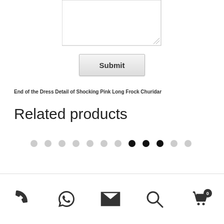[Figure (screenshot): Textarea input box at top of page]
Submit
End of the Dress Detail of Shocking Pink Long Frock Churidar
Related products
[Figure (infographic): Dot navigation indicator row with 12 dots, 3 filled black, rest grey]
Phone, WhatsApp, Email, Search, Cart (0) icons